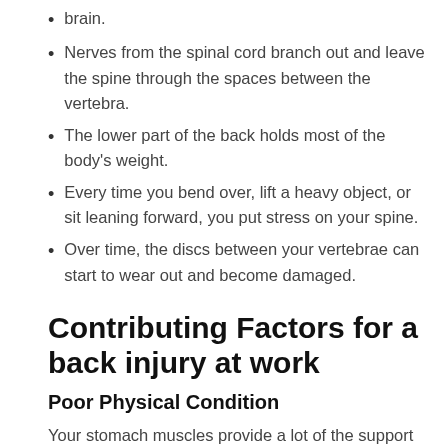brain.
Nerves from the spinal cord branch out and leave the spine through the spaces between the vertebra.
The lower part of the back holds most of the body’s weight.
Every time you bend over, lift a heavy object, or sit leaning forward, you put stress on your spine.
Over time, the discs between your vertebrae can start to wear out and become damaged.
Contributing Factors for a back injury at work
Poor Physical Condition
Your stomach muscles provide a lot of the support needed by your back. If you have weak, flabby stomach muscles, your back may not get all the support it needs, especially when you’re lifting or carrying heavy objects. Good physical condition, in general, is